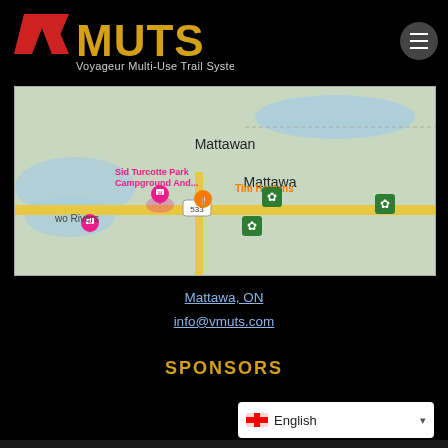[Figure (logo): VMUTS - Voyageur Multi-Use Trail System logo with red V and gold MUTS text on black background]
[Figure (map): Google Maps screenshot showing Mattawa, ON area with markers for Sid Turcotte Park Campground, Tim Hortons, Two Rivers, and trail markers (green maple leaf icons) along roads]
Mattawa, ON
info@vmuts.com
SPONSORS
[Figure (screenshot): Language selector widget showing English with Canadian flag]